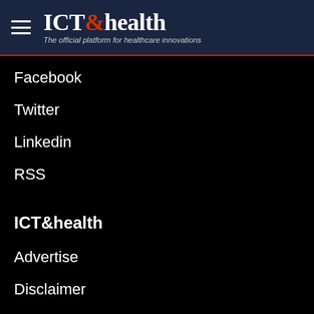ICT&health — The official platform for healthcare innovations
Facebook
Twitter
Linkedin
RSS
ICT&health
Advertise
Disclaimer
Contact